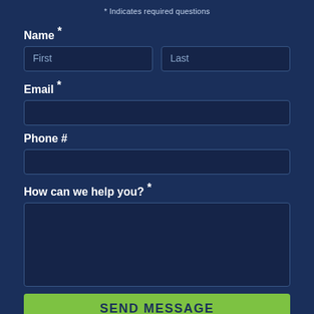* Indicates required questions
Name *
First
Last
Email *
Phone #
How can we help you? *
SEND MESSAGE